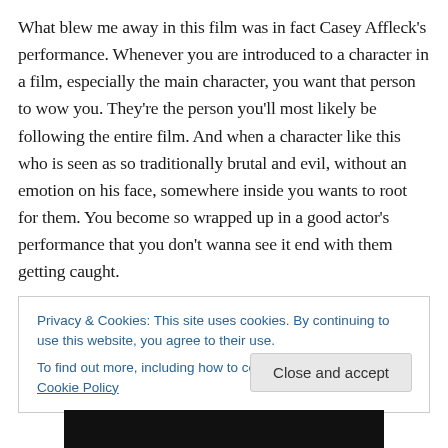What blew me away in this film was in fact Casey Affleck's performance. Whenever you are introduced to a character in a film, especially the main character, you want that person to wow you. They're the person you'll most likely be following the entire film. And when a character like this who is seen as so traditionally brutal and evil, without an emotion on his face, somewhere inside you wants to root for them. You become so wrapped up in a good actor's performance that you don't wanna see it end with them getting caught.
Privacy & Cookies: This site uses cookies. By continuing to use this website, you agree to their use.
To find out more, including how to control cookies, see here: Cookie Policy
Close and accept